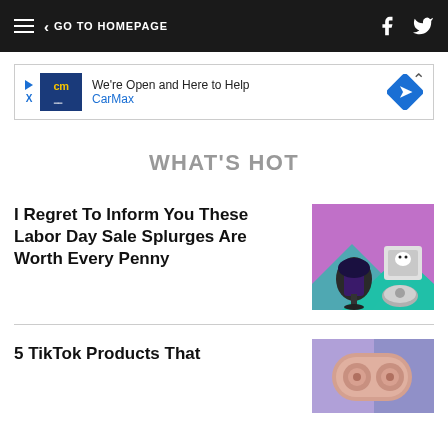< GO TO HOMEPAGE
[Figure (screenshot): CarMax advertisement banner: We're Open and Here to Help]
WHAT'S HOT
I Regret To Inform You These Labor Day Sale Splurges Are Worth Every Penny
[Figure (photo): Product collage on purple/teal background featuring a patterned office chair, a dog in a pet carrier, and a robot vacuum]
5 TikTok Products That
[Figure (photo): Wireless earbuds in a rose gold case on a blue/purple background]